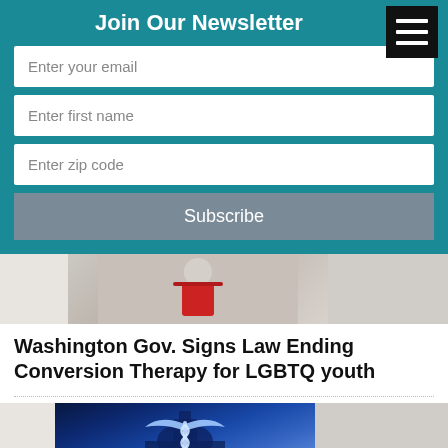Join Our Newsletter
Enter your email
Enter first name
Enter zip code
Subscribe
[Figure (photo): Article thumbnail showing a person in a red top, distressed pose]
Washington Gov. Signs Law Ending Conversion Therapy for LGBTQ youth
[Figure (photo): Affordable Care Act image with medical caduceus symbol and capitol building against blue background]